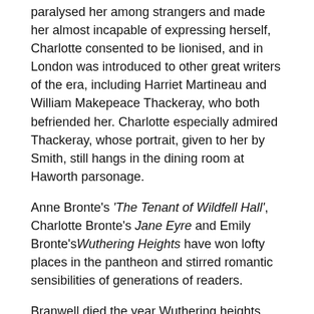paralysed her among strangers and made her almost incapable of expressing herself, Charlotte consented to be lionised, and in London was introduced to other great writers of the era, including Harriet Martineau and William Makepeace Thackeray, who both befriended her. Charlotte especially admired Thackeray, whose portrait, given to her by Smith, still hangs in the dining room at Haworth parsonage.
Anne Bronte's 'The Tenant of Wildfell Hall', Charlotte Bronte's Jane Eyre and Emily Bronte's Wuthering Heights have won lofty places in the pantheon and stirred romantic sensibilities of generations of readers.
Branwell died the year Wuthering heights was published, after a long period of consumption of alcohol and opium, and Emily is said to have caught a cold at his funeral, which led to tuberculosis, from which she also expired the same year.